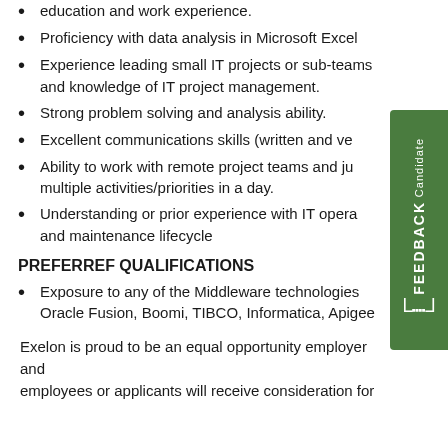education and work experience.
Proficiency with data analysis in Microsoft Excel
Experience leading small IT projects or sub-teams and knowledge of IT project management.
Strong problem solving and analysis ability.
Excellent communications skills (written and ve[rbal])
Ability to work with remote project teams and ju[ggle] multiple activities/priorities in a day.
Understanding or prior experience with IT opera[tions] and maintenance lifecycle
PREFERREF QUALIFICATIONS
Exposure to any of the Middleware technologies Oracle Fusion, Boomi, TIBCO, Informatica, Apigee
Exelon is proud to be an equal opportunity employer and employees or applicants will receive consideration for